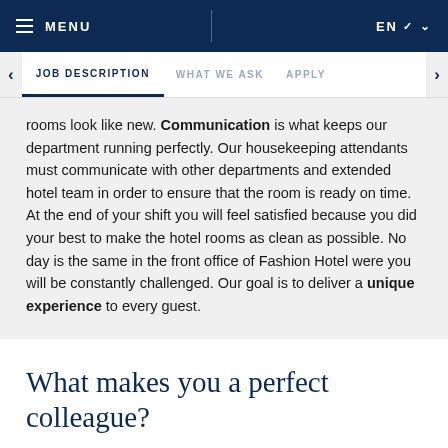MENU | EN
JOB DESCRIPTION  WHAT WE ASK  APPLY
rooms look like new. Communication is what keeps our department running perfectly. Our housekeeping attendants must communicate with other departments and extended hotel team in order to ensure that the room is ready on time. At the end of your shift you will feel satisfied because you did your best to make the hotel rooms as clean as possible. No day is the same in the front office of Fashion Hotel were you will be constantly challenged. Our goal is to deliver a unique experience to every guest.
What makes you a perfect colleague?